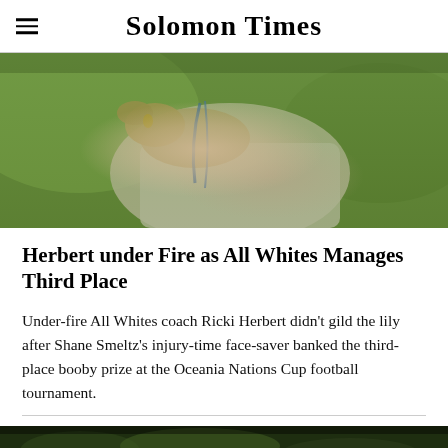Solomon Times
[Figure (photo): Close-up photo of a person's hand pointing or gesturing, wearing a ring, with a blue lanyard visible, against a blurred green outdoor background. Appears to be a sports coach.]
Herbert under Fire as All Whites Manages Third Place
Under-fire All Whites coach Ricki Herbert didn't gild the lily after Shane Smeltz's injury-time face-saver banked the third-place booby prize at the Oceania Nations Cup football tournament.
[Figure (photo): Partial bottom strip of a photograph showing a green outdoor sports field or crowd scene.]